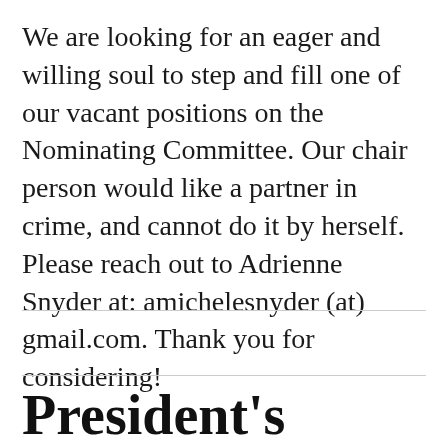We are looking for an eager and willing soul to step and fill one of our vacant positions on the Nominating Committee. Our chair person would like a partner in crime, and cannot do it by herself. Please reach out to Adrienne Snyder at: amichelesnyder (at) gmail.com. Thank you for considering!
President's